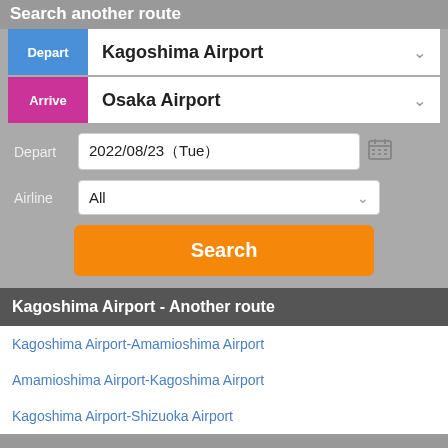Search another route
Depart  Kagoshima Airport
Arrive  Osaka Airport
Depart  2022/08/23（Tue）
Airline  All
Search
Kagoshima Airport - Another route
Kagoshima Airport-Amamioshima Airport
Amamioshima Airport-Kagoshima Airport
Kagoshima Airport-Shizuoka Airport